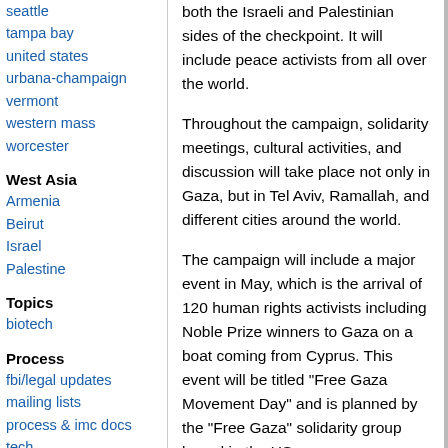seattle
tampa bay
united states
urbana-champaign
vermont
western mass
worcester
West Asia
Armenia
Beirut
Israel
Palestine
Topics
biotech
Process
fbi/legal updates
mailing lists
process & imc docs
tech
both the Israeli and Palestinian sides of the checkpoint. It will include peace activists from all over the world.
Throughout the campaign, solidarity meetings, cultural activities, and discussion will take place not only in Gaza, but in Tel Aviv, Ramallah, and different cities around the world.
The campaign will include a major event in May, which is the arrival of 120 human rights activists including Noble Prize winners to Gaza on a boat coming from Cyprus. This event will be titled "Free Gaza Movement Day" and is planned by the "Free Gaza" solidarity group based in the US.
The campaign will have special posters as well as a website where all relevant materials will be published. The site will give opportunity for people to